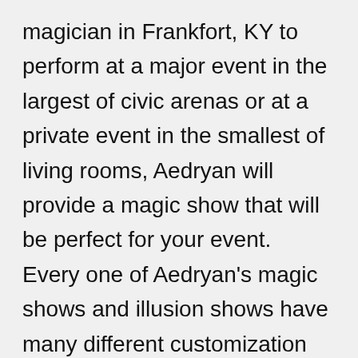magician in Frankfort, KY to perform at a major event in the largest of civic arenas or at a private event in the smallest of living rooms, Aedryan will provide a magic show that will be perfect for your event. Every one of Aedryan's magic shows and illusion shows have many different customization options and features, as well as upscale versions available.